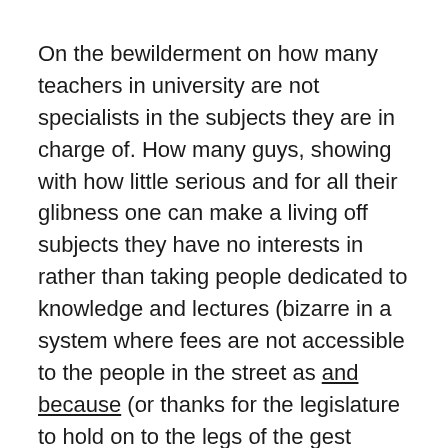On the bewilderment on how many teachers in university are not specialists in the subjects they are in charge of. How many guys, showing with how little serious and for all their glibness one can make a living off subjects they have no interests in rather than taking people dedicated to knowledge and lectures (bizarre in a system where fees are not accessible to the people in the street as and because (or thanks for the legislature to hold on to the legs of the gest politician partiture portraiture perjure pourriture) the building budget goes out the roof, being handled by 6 salary figures.
Most of them being formerly formally from the financial professions, parasiting again, this time jobs for teachers